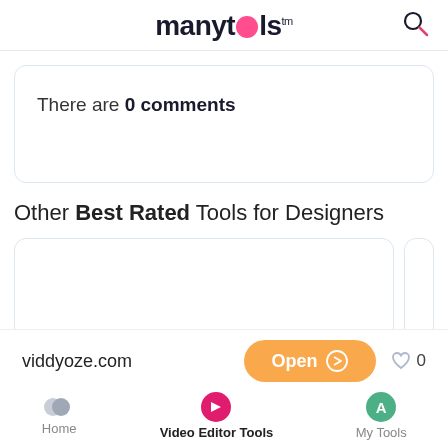manytools™
There are 0 comments
Other Best Rated Tools for Designers
[Figure (screenshot): Partially visible card placeholder for a tool listing]
viddyoze.com  Open  ♡ 0  Home  Video Editor Tools  My Tools